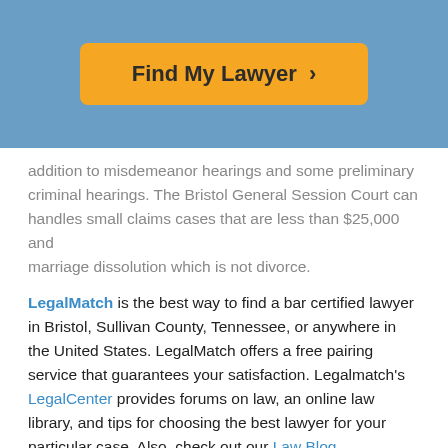[Figure (other): Orange button with text 'Find My Lawyer >' on a blue background banner]
addition to misdemeanor hearings and some preliminary criminal hearings. The Bristol General Session Court can handles small claims cases that are less than $25,000 and marriage dissolution which is not divorce.
LegalMatch is the best way to find a bar certified lawyer in Bristol, Sullivan County, Tennessee, or anywhere in the United States. LegalMatch offers a free pairing service that guarantees your satisfaction. Legalmatch's LegalCenter provides forums on law, an online law library, and tips for choosing the best lawyer for your particular case. Also, check out our Law Blog.
For more information on Bristol lawyers and courts, please see the links below:
City of Bristol, Tennessee